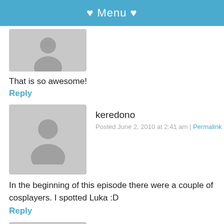♥ Menu ♥
[Figure (illustration): Gray avatar placeholder silhouette (partial, top of page)]
That is so awesome!
Reply
[Figure (illustration): Gray avatar placeholder silhouette for keredono]
keredono
Posted June 2, 2010 at 2:41 am | Permalink
In the beginning of this episode there were a couple of cosplayers. I spotted Luka :D
Reply
[Figure (illustration): Gray avatar placeholder silhouette for Nextsurfer]
Nextsurfer
Posted June 2, 2010 at 2:22 pm | Permalink
[Figure (illustration): Social media icons: Facebook, Twitter, Pinterest, LinkedIn]